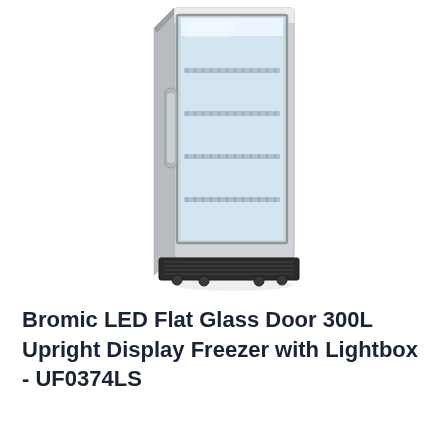[Figure (photo): A tall upright commercial display freezer with a flat glass door and LED lighting. The unit is white/silver with a chrome-edged glass door through which multiple wire shelves are visible. It has a black ventilated base with casters. The freezer is shown in a three-quarter angle view against a white background.]
Bromic LED Flat Glass Door 300L Upright Display Freezer with Lightbox - UF0374LS